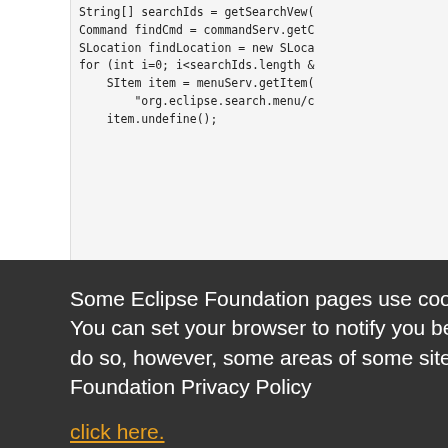String[] searchIds = getSearchVew(
Command findCmd = commandServ.getC
SLocation findLocation = new SLoca
for (int i=0; i<searchIds.length &
    SItem item = menuServ.getItem(
        "org.eclipse.search.menu/c
    item.undefine();
Some Eclipse Foundation pages use cookies to better serve you when you return to the site. You can set your browser to notify you before you receive a cookie or turn off cookies. If you do so, however, some areas of some sites may not function properly. To read Eclipse Foundation Privacy Policy
click here.
Decline
Allow cookies
<group